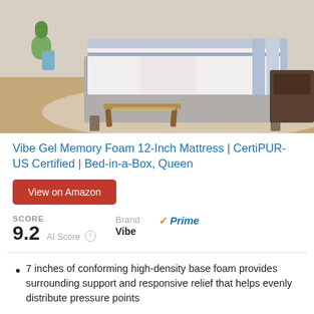[Figure (photo): Product photo of a Vibe Gel Memory Foam 12-Inch Mattress displayed on a grey bed frame in a modern bedroom setting with a plant, nightstand, bench, and rug.]
Vibe Gel Memory Foam 12-Inch Mattress | CertiPUR-US Certified | Bed-in-a-Box, Queen
View on Amazon
SCORE
9.2 AI Score
Brand
Vibe
Prime
7 inches of conforming high-density base foam provides surrounding support and responsive relief that helps evenly distribute pressure points